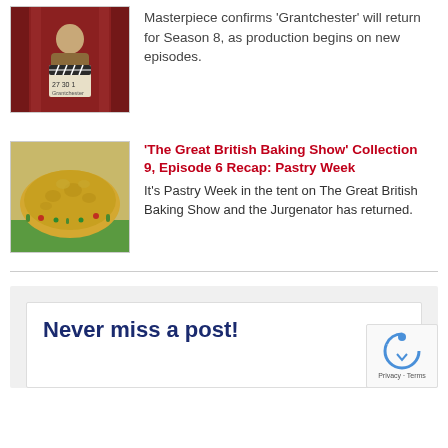[Figure (photo): Thumbnail image of a man holding a clapperboard on a red curtain background, related to Grantchester TV show]
Masterpiece confirms 'Grantchester' will return for Season 8, as production begins on new episodes.
[Figure (photo): Thumbnail image of an elaborate pastry creation resembling a landscape/house from The Great British Baking Show]
'The Great British Baking Show' Collection 9, Episode 6 Recap: Pastry Week
It's Pastry Week in the tent on The Great British Baking Show and the Jurgenator has returned.
Never miss a post!